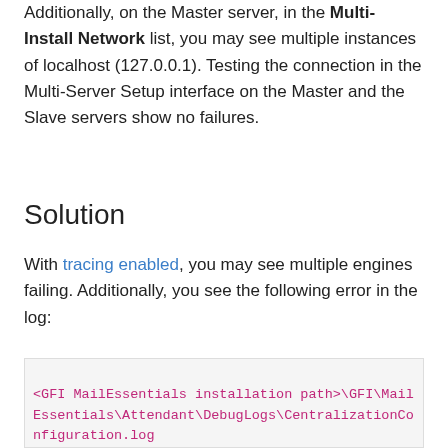Additionally, on the Master server, in the Multi-Install Network list, you may see multiple instances of localhost (127.0.0.1). Testing the connection in the Multi-Server Setup interface on the Master and the Slave servers show no failures.
Solution
With tracing enabled, you may see multiple engines failing. Additionally, you see the following error in the log:
<GFI MailEssentials installation path>\GFI\MailEssentials\Attendant\DebugLogs\CentralizationConfiguration.log